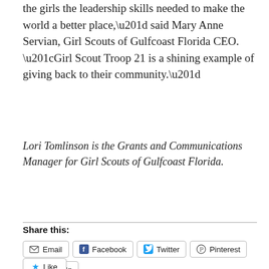the girls the leadership skills needed to make the world a better place,” said Mary Anne Servian, Girl Scouts of Gulfcoast Florida CEO. “Girl Scout Troop 21 is a shining example of giving back to their community.”
Lori Tomlinson is the Grants and Communications Manager for Girl Scouts of Gulfcoast Florida.
Share this:
Email | Facebook | Twitter | Pinterest | LinkedIn | Pocket | Print
Like
Be the first to like this.